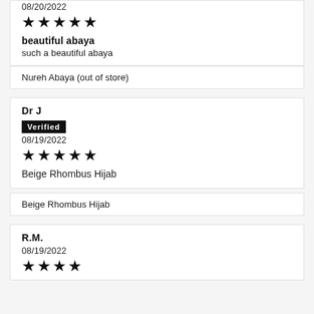08/20/2022
★★★★★
beautiful abaya
such a beautiful abaya
Nureh Abaya (out of store)
Dr J
Verified
08/19/2022
★★★★★
Beige Rhombus Hijab
Beige Rhombus Hijab
R.M.
08/19/2022